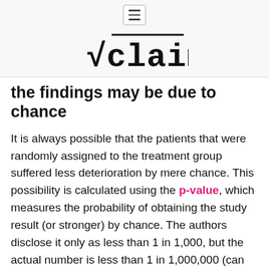√claim (logo)
the findings may be due to chance
It is always possible that the patients that were randomly assigned to the treatment group suffered less deterioration by mere chance. This possibility is calculated using the p-value, which measures the probability of obtaining the study result (or stronger) by chance. The authors disclose it only as less than 1 in 1,000, but the actual number is less than 1 in 1,000,000 (can be verified here